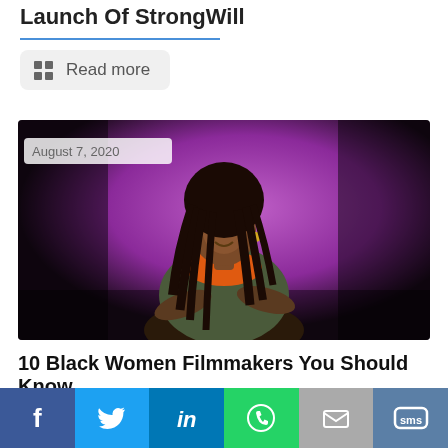Launch Of StrongWill
Read more
[Figure (photo): Portrait of a Black woman with long dreadlocks, wearing an orange scarf and patterned top, arms crossed, against a purple background. Date badge reads August 7, 2020.]
10 Black Women Filmmakers You Should Know
Social share bar: Facebook, Twitter, LinkedIn, WhatsApp, Email, SMS